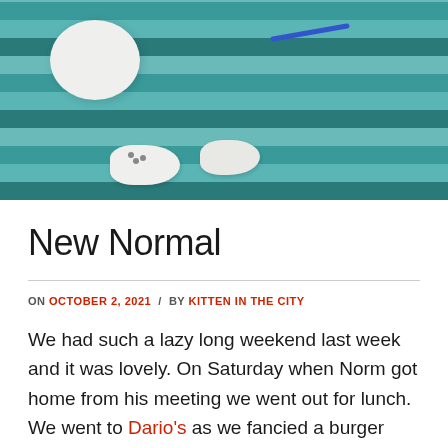[Figure (photo): Two white cats or kittens lying on a teal and blue striped blanket, viewed from above]
New Normal
ON OCTOBER 2, 2021 / BY KITTEN IN THE CITY
We had such a lazy long weekend last week and it was lovely. On Saturday when Norm got home from his meeting we went out for lunch. We went to Dario's as we fancied a burger and there were